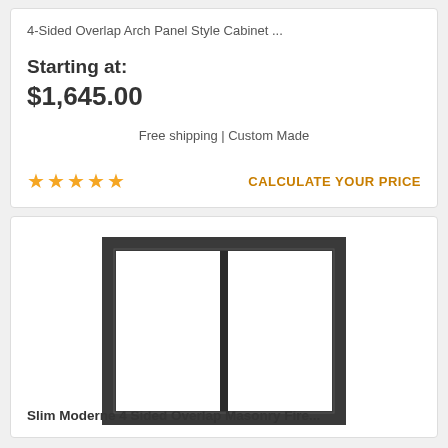4-Sided Overlap Arch Panel Style Cabinet ...
Starting at:
$1,645.00
Free shipping | Custom Made
★★★★★
CALCULATE YOUR PRICE
[Figure (photo): Product image of a black rectangular fireplace door with two panels, flat modern style with a center divider bar, white interior panels visible]
Slim Moderne 4 Sided Overlap Masonry Fire...